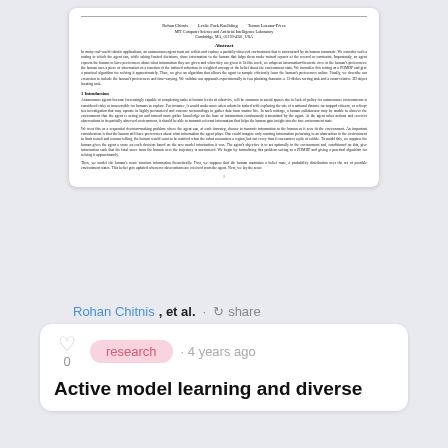[Figure (screenshot): Preview thumbnail of an academic paper showing title area, authors (Rohan Chitnis, Leslie Pack Kaelbling, Tomas Lozano-Perez), MIT affiliation, abstract, and introduction sections.]
Rohan Chitnis, et al. · share
research · 4 years ago
Active model learning and diverse